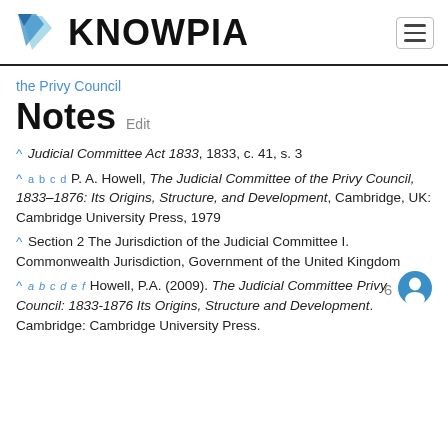KNOWPIA
the Privy Council
Notes  Edit
^ Judicial Committee Act 1833, 1833, c. 41, s. 3
^ a b c d P. A. Howell, The Judicial Committee of the Privy Council, 1833–1876: Its Origins, Structure, and Development, Cambridge, UK: Cambridge University Press, 1979
^ Section 2 The Jurisdiction of the Judicial Committee I. Commonwealth Jurisdiction, Government of the United Kingdom
^ a b c d e f Howell, P.A. (2009). The Judicial Committee Privy Council: 1833-1876 Its Origins, Structure and Development. Cambridge: Cambridge University Press.